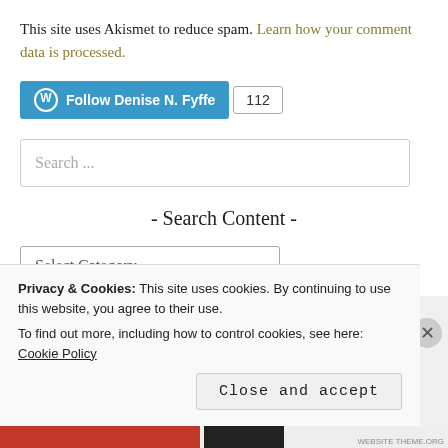This site uses Akismet to reduce spam. Learn how your comment data is processed.
[Figure (other): WordPress Follow button for Denise N. Fyffe with follower count 112]
Search ...
- Search Content -
Select Category
Privacy & Cookies: This site uses cookies. By continuing to use this website, you agree to their use.
To find out more, including how to control cookies, see here: Cookie Policy
Close and accept